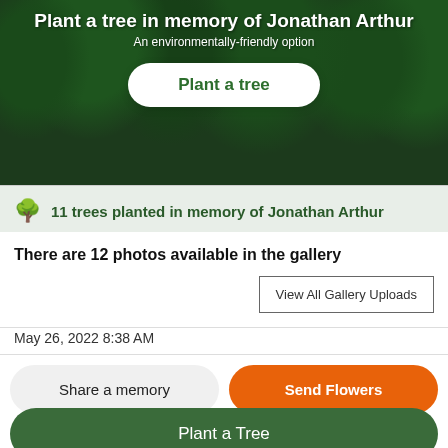[Figure (photo): Aerial or ground-level view of dense green forest/trees used as hero background]
Plant a tree in memory of Jonathan Arthur
An environmentally-friendly option
Plant a tree
🌳 11 trees planted in memory of Jonathan Arthur
There are 12 photos available in the gallery
View All Gallery Uploads
May 26, 2022 8:38 AM
Share a memory
Send Flowers
Plant a Tree